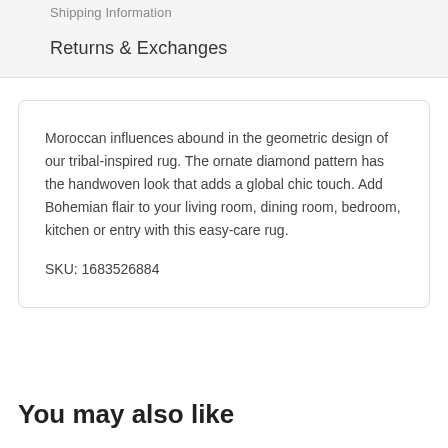Shipping Information
Returns & Exchanges
Moroccan influences abound in the geometric design of our tribal-inspired rug. The ornate diamond pattern has the handwoven look that adds a global chic touch. Add Bohemian flair to your living room, dining room, bedroom, kitchen or entry with this easy-care rug.

SKU: 1683526884
You may also like